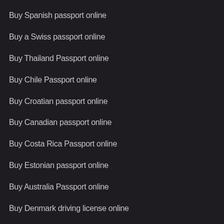Buy Spanish passport online
Buy a Swiss passport online
Buy Thailand Passport online
Buy Chile Passport online
Buy Croatian passport online
Buy Canadian passport online
Buy Costa Rica Passport online
Buy Estonian passport online
Buy Australia Passport online
Buy Denmark driving license online